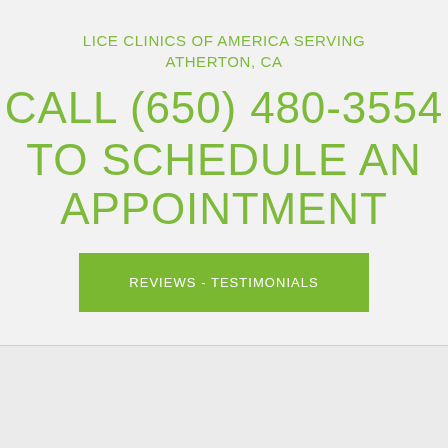LICE CLINICS OF AMERICA SERVING ATHERTON, CA
CALL (650) 480-3554 TO SCHEDULE AN APPOINTMENT
REVIEWS - TESTIMONIALS